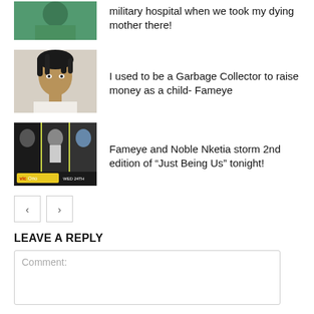[Figure (photo): Thumbnail of a woman in green outfit, partially cropped at top]
military hospital when we took my dying mother there!
[Figure (photo): Thumbnail portrait of Fameye, a man with dreadlocks]
I used to be a Garbage Collector to raise money as a child- Fameye
[Figure (photo): Thumbnail event poster for Just Being Us with Fameye and Noble Nketia, WED 24TH]
Fameye and Noble Nketia storm 2nd edition of “Just Being Us” tonight!
LEAVE A REPLY
Comment: